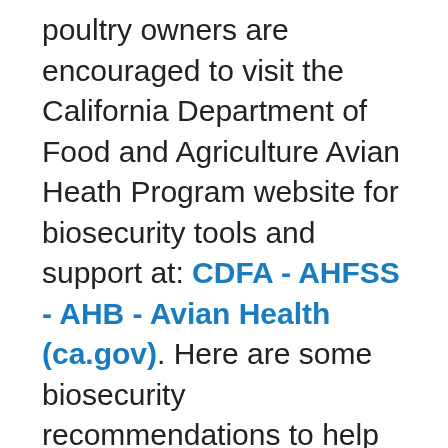poultry owners are encouraged to visit the California Department of Food and Agriculture Avian Heath Program website for biosecurity tools and support at: CDFA - AHFSS - AHB - Avian Health (ca.gov). Here are some biosecurity recommendations to help protect your flock:
Wash your hands before and